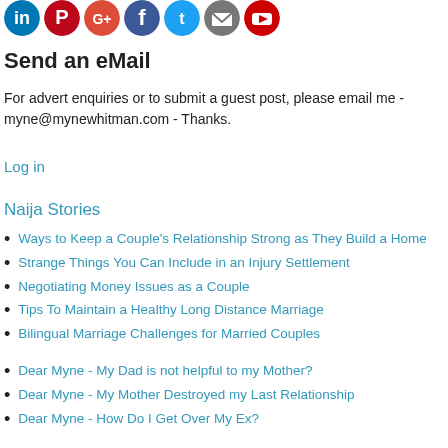[Figure (illustration): Row of social media icon circles: LinkedIn, Pinterest, Google+, Facebook, Twitter, Email, YouTube]
Send an eMail
For advert enquiries or to submit a guest post, please email me - myne@mynewhitman.com - Thanks.
Log in
Naija Stories
Ways to Keep a Couple's Relationship Strong as They Build a Home
Strange Things You Can Include in an Injury Settlement
Negotiating Money Issues as a Couple
Tips To Maintain a Healthy Long Distance Marriage
Bilingual Marriage Challenges for Married Couples
Dear Myne - My Dad is not helpful to my Mother?
Dear Myne - My Mother Destroyed my Last Relationship
Dear Myne - How Do I Get Over My Ex?